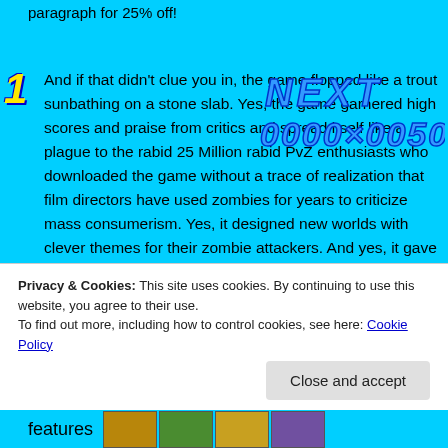paragraph for 25% off!
[Figure (screenshot): Game UI overlay showing score display with text 'NEXT' and '1 0000×0050' in blue pixel-style font on cyan background]
And if that didn't clue you in, the game flopped like a trout sunbathing on a stone slab. Yes, the game garnered high scores and praise from critics and spread itself like a plague to the rabid 25 Million rabid PvZ enthusiasts who downloaded the game without a trace of realization that film directors have used zombies for years to criticize mass consumerism. Yes, it designed new worlds with clever themes for their zombie attackers. And yes, it gave us brand new plants and let features
Privacy & Cookies: This site uses cookies. By continuing to use this website, you agree to their use.
To find out more, including how to control cookies, see here: Cookie Policy
Close and accept